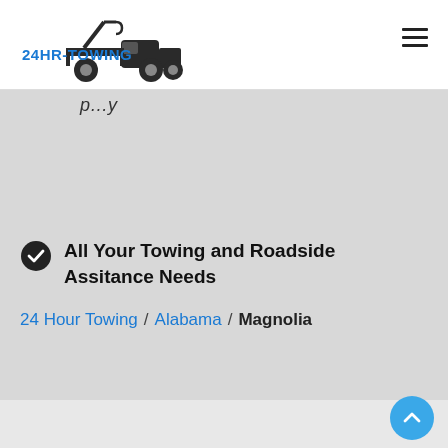[Figure (logo): 24HR-TOWING logo with tow truck illustration and blue text reading 24HR-TOWING]
[Figure (other): Hamburger menu icon (three horizontal lines)]
...pany...
All Your Towing and Roadside Assitance Needs
24 Hour Towing / Alabama / Magnolia
[Figure (other): Back-to-top button: blue circle with upward chevron arrow]